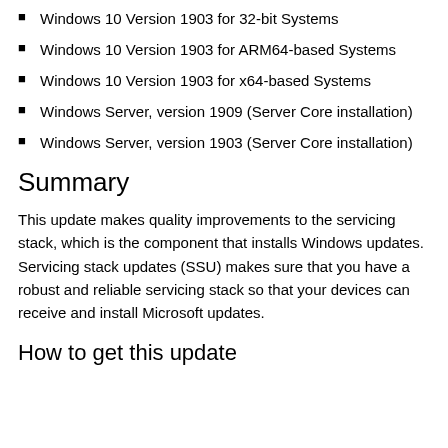Windows 10 Version 1903 for 32-bit Systems
Windows 10 Version 1903 for ARM64-based Systems
Windows 10 Version 1903 for x64-based Systems
Windows Server, version 1909 (Server Core installation)
Windows Server, version 1903 (Server Core installation)
Summary
This update makes quality improvements to the servicing stack, which is the component that installs Windows updates. Servicing stack updates (SSU) makes sure that you have a robust and reliable servicing stack so that your devices can receive and install Microsoft updates.
How to get this update